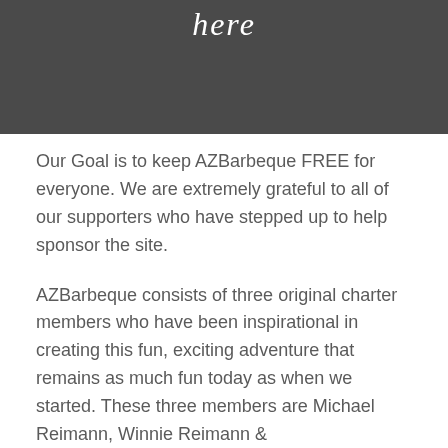[Figure (photo): Dark gray banner with stylized cursive/script text reading 'here' in white]
Our Goal is to keep AZBarbeque FREE for everyone. We are extremely grateful to all of our supporters who have stepped up to help sponsor the site.
AZBarbeque consists of three original charter members who have been inspirational in creating this fun, exciting adventure that remains as much fun today as when we started. These three members are Michael Reimann, Winnie Reimann & [partial text continues]